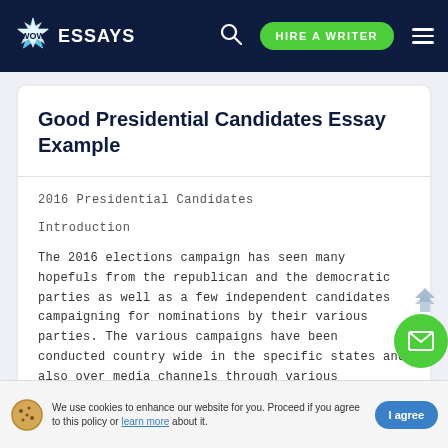WOW ESSAYS | HIRE A WRITER
Good Presidential Candidates Essay Example
2016 Presidential Candidates
Introduction
The 2016 elections campaign has seen many hopefuls from the republican and the democratic parties as well as a few independent candidates campaigning for nominations by their various parties. The various campaigns have been conducted country wide in the specific states and also over media channels through various interviews. This time round the polls seem to going against the general public's expectations and therefore not easy to make a clear prediction as t
We use cookies to enhance our website for you. Proceed if you agree to this policy or learn more about it.